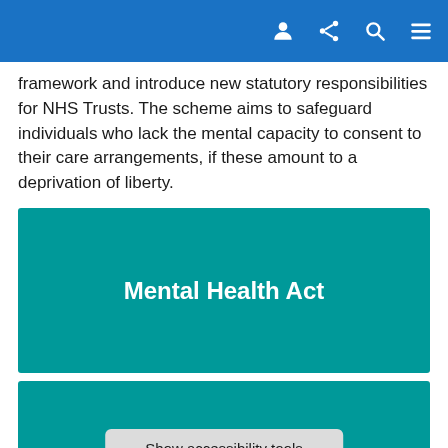[navigation icons: user, share, search, menu]
framework and introduce new statutory responsibilities for NHS Trusts. The scheme aims to safeguard individuals who lack the mental capacity to consent to their care arrangements, if these amount to a deprivation of liberty.
[Figure (infographic): Teal/green card with white bold text reading 'Mental Health Act']
[Figure (infographic): Teal/green card partially visible at bottom, with an accessibility tools bar overlay showing 'Show accessibility tools']